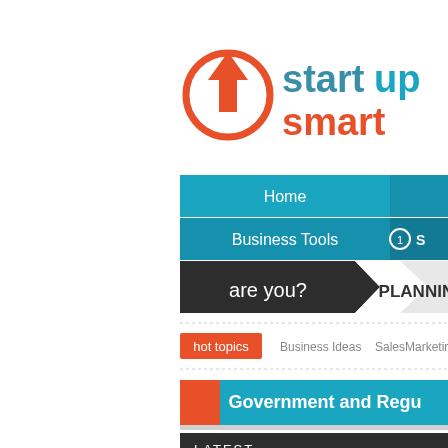[Figure (logo): Startup Smart logo: orange circle with upward arrow, text 'startup smart' with 'up' in teal and rest in orange/gray]
[Figure (screenshot): Website navigation bar with teal Home and Business Tools menu items, dark arrow breadcrumb showing 'are you?' and 'PLANNING', hot topics bar with Business Ideas, Sales, Marketing, Government and Regulations section header, and LATEST section bar]